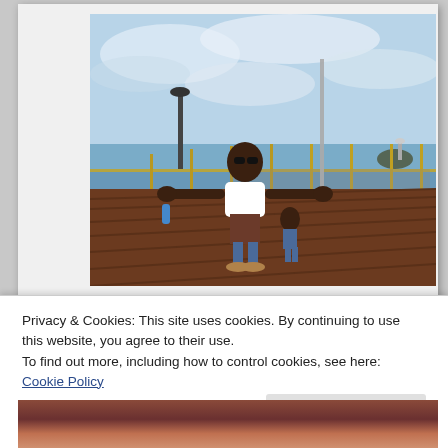[Figure (photo): A person standing on a wooden pier/boardwalk with arms outstretched, wearing sunglasses and a white top with brown bottoms. A child is nearby. There is a decorative iron railing along the pier, the sea and a small island/lighthouse in the background, under a partly cloudy blue sky.]
Privacy & Cookies: This site uses cookies. By continuing to use this website, you agree to their use.
To find out more, including how to control cookies, see here: Cookie Policy
[Figure (photo): Partial view of a food/dish photo at the bottom of the page, showing what appears to be a plate with berries or colorful toppings.]